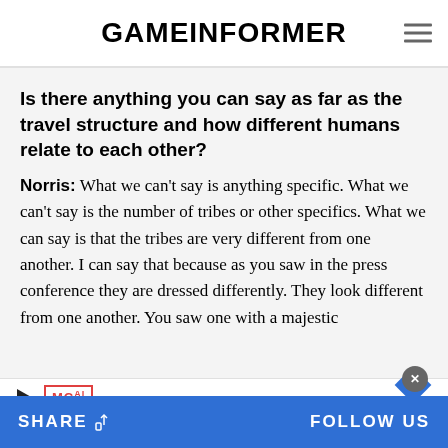GAMEiNFORMER
Is there anything you can say as far as the travel structure and how different humans relate to each other?
Norris: What we can't say is anything specific. What we can't say is the number of tribes or other specifics. What we can say is that the tribes are very different from one another. I can say that because as you saw in the press conference they are dressed differently. They look different from one another. You saw one with a majestic
SHARE   FOLLOW US